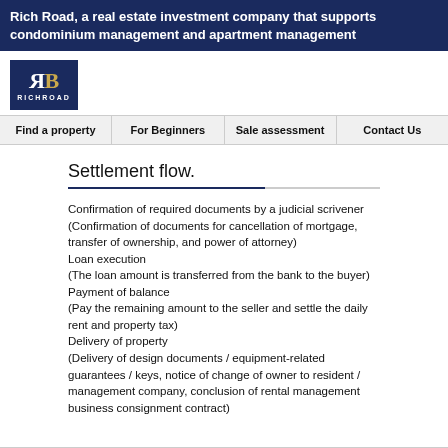Rich Road, a real estate investment company that supports condominium management and apartment management
[Figure (logo): Rich Road logo: dark navy blue box with mirrored R and gold B letters, RICHROAD text below]
Find a property | For Beginners | Sale assessment | Contact Us
Settlement flow.
Confirmation of required documents by a judicial scrivener (Confirmation of documents for cancellation of mortgage, transfer of ownership, and power of attorney)
Loan execution
(The loan amount is transferred from the bank to the buyer)
Payment of balance
(Pay the remaining amount to the seller and settle the daily rent and property tax)
Delivery of property
(Delivery of design documents / equipment-related guarantees / keys, notice of change of owner to resident / management company, conclusion of rental management business consignment contract)